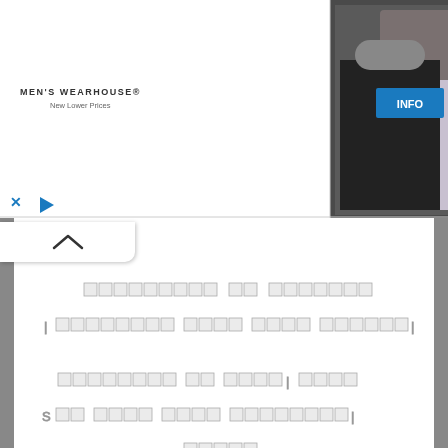[Figure (screenshot): Men's Wearhouse advertisement banner showing a couple in formal wear and a man in a suit, with INFO button and close/play icons]
[Figure (screenshot): Collapse/accordion tab with upward arrow]
[unreadable tofu characters - multiple lines of boxes representing unrendered text in an unknown script]